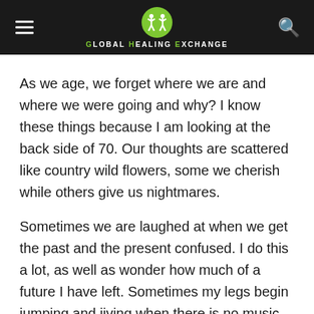Global Healing Exchange
As we age, we forget where we are and where we were going and why? I know these things because I am looking at the back side of 70. Our thoughts are scattered like country wild flowers, some we cherish while others give us nightmares.
Sometimes we are laughed at when we get the past and the present confused. I do this a lot, as well as wonder how much of a future I have left. Sometimes my legs begin jumping and jiving when there is no music.
The one thing we can't hide from others is when we